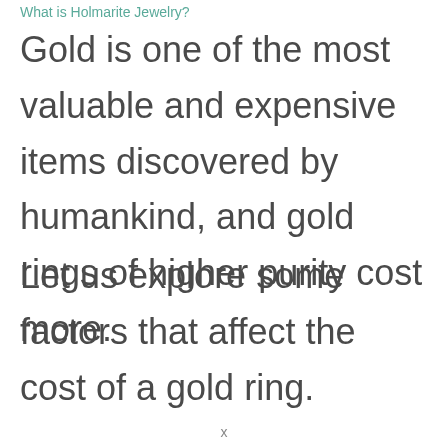What is Holmarite Jewelry?
Gold is one of the most valuable and expensive items discovered by humankind, and gold rings of higher purity cost more.
Let us explore some factors that affect the cost of a gold ring.
x